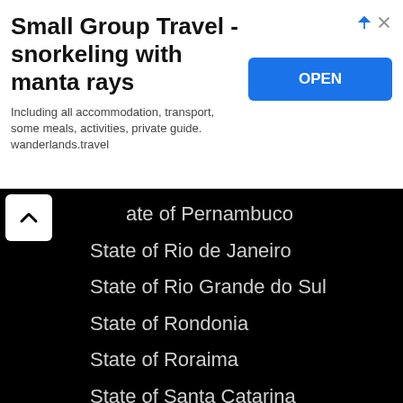[Figure (screenshot): Advertisement banner for Small Group Travel snorkeling with manta rays, with an OPEN button]
State of Pernambuco
State of Rio de Janeiro
State of Rio Grande do Sul
State of Rondonia
State of Roraima
State of Santa Catarina
State of Sao Paulo